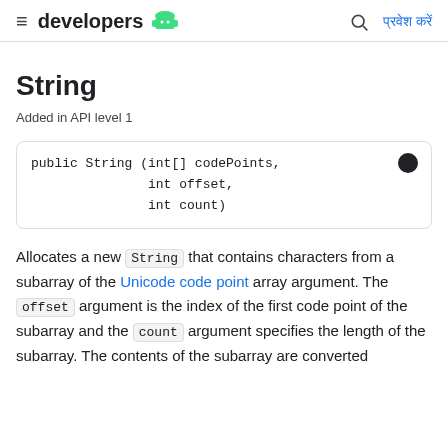≡ developers [android logo] 🔍 प्रवेश करें
String
Added in API level 1
public String (int[] codePoints,
               int offset,
               int count)
Allocates a new String that contains characters from a subarray of the Unicode code point array argument. The offset argument is the index of the first code point of the subarray and the count argument specifies the length of the subarray. The contents of the subarray are converted